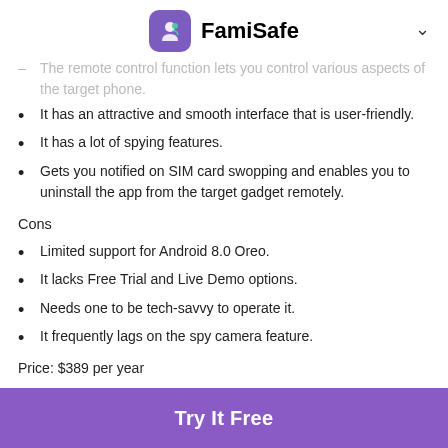FamiSafe
The remote control function lets you control various aspects of the target phone.
It has an attractive and smooth interface that is user-friendly.
It has a lot of spying features.
Gets you notified on SIM card swopping and enables you to uninstall the app from the target gadget remotely.
Cons
Limited support for Android 8.0 Oreo.
It lacks Free Trial and Live Demo options.
Needs one to be tech-savvy to operate it.
It frequently lags on the spy camera feature.
Price: $389 per year
https://www.spyera.com
7. Highster Mobile
Try It Free